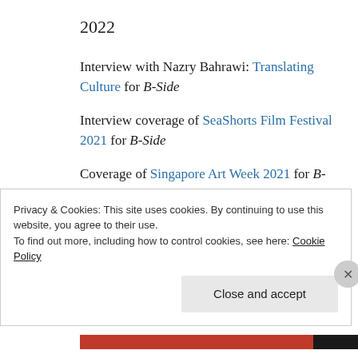2022
Interview with Nazry Bahrawi: Translating Culture for B-Side
Interview coverage of SeaShorts Film Festival 2021 for B-Side
Coverage of Singapore Art Week 2021 for B-Side
Feature on Sambal Belacan in San
Privacy & Cookies: This site uses cookies. By continuing to use this website, you agree to their use. To find out more, including how to control cookies, see here: Cookie Policy
Close and accept